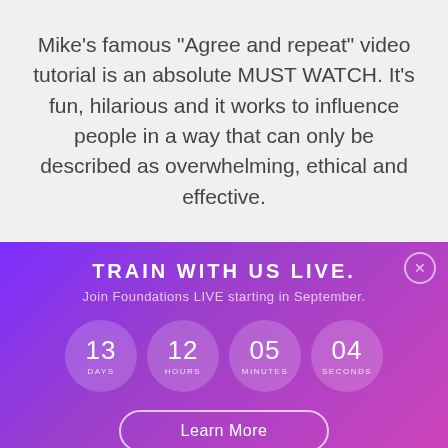Mike's famous "Agree and repeat" video tutorial is an absolute MUST WATCH. It's fun, hilarious and it works to influence people in a way that can only be described as overwhelming, ethical and effective.
TRAIN WITH US LIVE.
Join Foundations LIVE starting in September.
13 DAYS  12 HOURS  05 MINUTES  04 SECONDS
Learn More